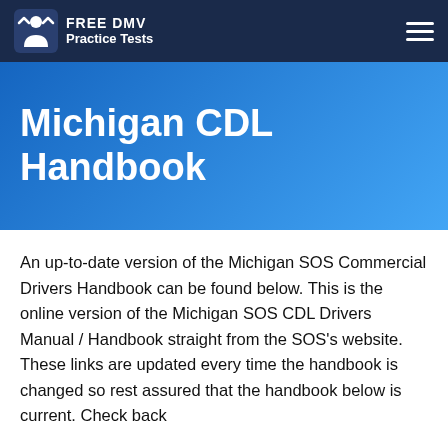FREE DMV Practice Tests
Michigan CDL Handbook
An up-to-date version of the Michigan SOS Commercial Drivers Handbook can be found below. This is the online version of the Michigan SOS CDL Drivers Manual / Handbook straight from the SOS's website. These links are updated every time the handbook is changed so rest assured that the handbook below is current. Check back...